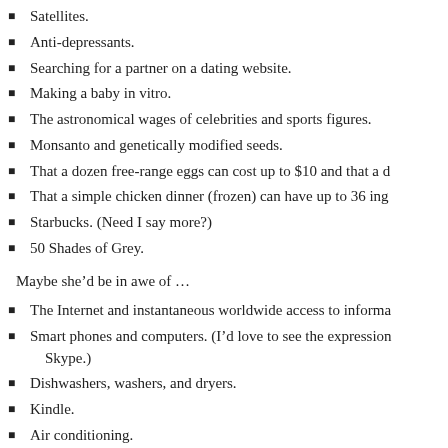Satellites.
Anti-depressants.
Searching for a partner on a dating website.
Making a baby in vitro.
The astronomical wages of celebrities and sports figures.
Monsanto and genetically modified seeds.
That a dozen free-range eggs can cost up to $10 and that a d…
That a simple chicken dinner (frozen) can have up to 36 ing…
Starbucks. (Need I say more?)
50 Shades of Grey.
Maybe she’d be in awe of …
The Internet and instantaneous worldwide access to informa…
Smart phones and computers. (I’d love to see the expression… Skype.)
Dishwashers, washers, and dryers.
Kindle.
Air conditioning.